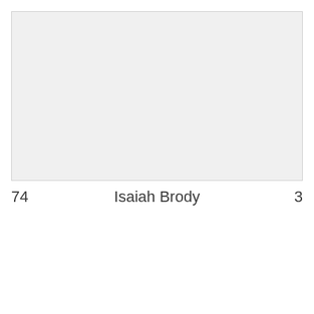[Figure (photo): Large light gray rectangular image area occupying the upper portion of the page]
74    Isaiah Brody    3